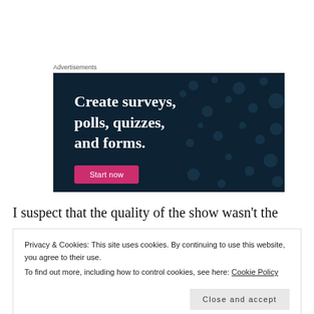Advertisements
[Figure (illustration): Advertisement banner with dark navy background and polka dot pattern. White bold serif text reads 'Create surveys, polls, quizzes, and forms.' with a pink/magenta 'Start now' button at the bottom.]
I suspect that the quality of the show wasn't the
Privacy & Cookies: This site uses cookies. By continuing to use this website, you agree to their use.
To find out more, including how to control cookies, see here: Cookie Policy
Close and accept
further Agent Carter series.  Viewer figures were